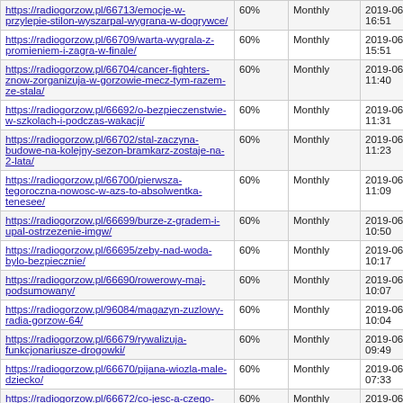| URL | Priority | Change Freq | Last Modified |
| --- | --- | --- | --- |
| https://radiogorzow.pl/66713/emocje-w-przylepie-stilon-wyszarpal-wygrana-w-dogrywce/ | 60% | Monthly | 2019-06-05 16:51 |
| https://radiogorzow.pl/66709/warta-wygrala-z-promieniem-i-zagra-w-finale/ | 60% | Monthly | 2019-06-05 15:51 |
| https://radiogorzow.pl/66704/cancer-fighters-znow-zorganizuja-w-gorzowie-mecz-tym-razem-ze-stala/ | 60% | Monthly | 2019-06-05 11:40 |
| https://radiogorzow.pl/66692/o-bezpieczenstwie-w-szkolach-i-podczas-wakacji/ | 60% | Monthly | 2019-06-05 11:31 |
| https://radiogorzow.pl/66702/stal-zaczyna-budowe-na-kolejny-sezon-bramkarz-zostaje-na-2-lata/ | 60% | Monthly | 2019-06-05 11:23 |
| https://radiogorzow.pl/66700/pierwsza-tegoroczna-nowosc-w-azs-to-absolwentka-tenesee/ | 60% | Monthly | 2019-06-05 11:09 |
| https://radiogorzow.pl/66699/burze-z-gradem-i-upal-ostrzezenie-imgw/ | 60% | Monthly | 2019-06-05 10:50 |
| https://radiogorzow.pl/66695/zeby-nad-woda-bylo-bezpiecznie/ | 60% | Monthly | 2019-06-05 10:17 |
| https://radiogorzow.pl/66690/rowerowy-maj-podsumowany/ | 60% | Monthly | 2019-06-05 10:07 |
| https://radiogorzow.pl/96084/magazyn-zuzlowy-radia-gorzow-64/ | 60% | Monthly | 2019-06-05 10:04 |
| https://radiogorzow.pl/66679/rywalizuja-funkcjonariusze-drogowki/ | 60% | Monthly | 2019-06-05 09:49 |
| https://radiogorzow.pl/66670/pijana-wiozla-male-dziecko/ | 60% | Monthly | 2019-06-05 07:33 |
| https://radiogorzow.pl/66672/co-jesc-a-czego-nie-jesc-w-upalne-dni/ | 60% | Monthly | 2019-06-05 06:10 |
| https://radiogorzow.pl/66668/grazyna-wojciechowska-6/ | 60% | Monthly | 2019-06-05 06:06 |
| https://radiogorzow.pl/66666/mamy-drugiego-... | 60% | Monthly | 2019-06-05 |